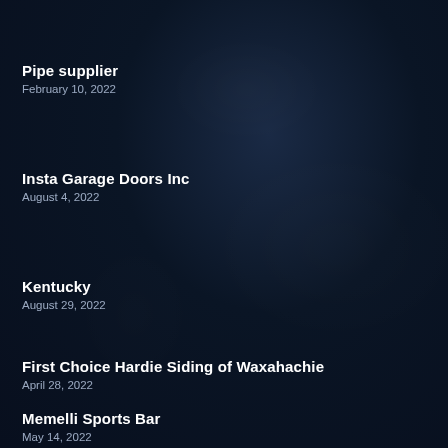Pipe supplier
February 10, 2022
Insta Garage Doors Inc
August 4, 2022
Kentucky
August 29, 2022
First Choice Hardie Siding of Waxahachie
April 28, 2022
Memelli Sports Bar
May 14, 2022